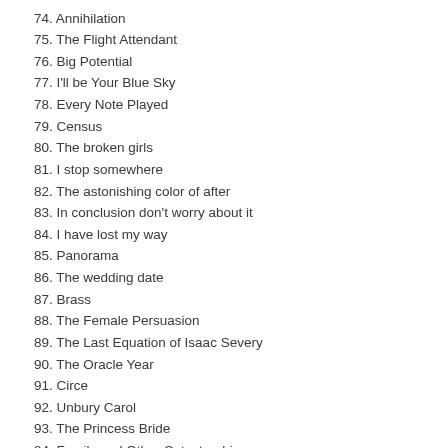74. Annihilation
75. The Flight Attendant
76. Big Potential
77. I'll be Your Blue Sky
78. Every Note Played
79. Census
80. The broken girls
81. I stop somewhere
82. The astonishing color of after
83. In conclusion don't worry about it
84. I have lost my way
85. Panorama
86. The wedding date
87. Brass
88. The Female Persuasion
89. The Last Equation of Isaac Severy
90. The Oracle Year
91. Circe
92. Unbury Carol
93. The Princess Bride
94. Family and Other Catastrophies
95. The Gunners
96. sophia of silicon valley